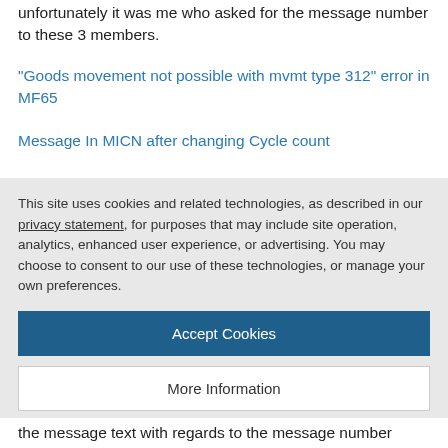unfortunately it was me who asked for the message number to these 3 members.
“Goods movement not possible with mvmt type 312” error in MF65
Message In MICN after changing Cycle count
Why system giving the quantity related error during the cancellation of invoice...
This site uses cookies and related technologies, as described in our privacy statement, for purposes that may include site operation, analytics, enhanced user experience, or advertising. You may choose to consent to our use of these technologies, or manage your own preferences.
Accept Cookies
More Information
Privacy Policy | Powered by: TrustArc
the message text with regards to the message number